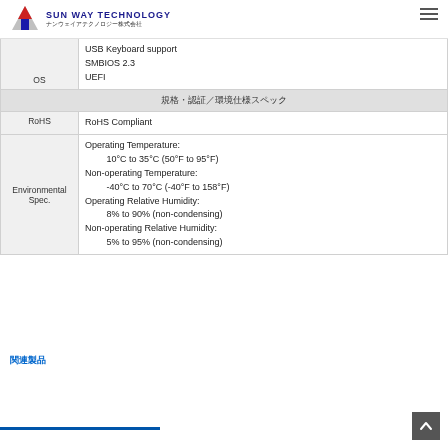SUN WAY TECHNOLOGY ナンウェイアテクノロジー株式会社
| Category | Specification |
| --- | --- |
| OS (partial) | USB Keyboard support
SMBIOS 2.3
UEFI |
| [section header] | 規格・認証/環境仕様スペック |
| RoHS | RoHS Compliant |
| Environmental Spec. | Operating Temperature:
    10°C to 35°C (50°F to 95°F)
Non-operating Temperature:
    -40°C to 70°C (-40°F to 158°F)
Operating Relative Humidity:
    8% to 90% (non-condensing)
Non-operating Relative Humidity:
    5% to 95% (non-condensing) |
関連製品